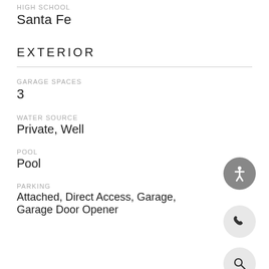HIGH SCHOOL
Santa Fe
EXTERIOR
GARAGE SPACES
3
WATER SOURCE
Private, Well
POOL
Pool
PARKING
Attached, Direct Access, Garage, Garage Door Opener